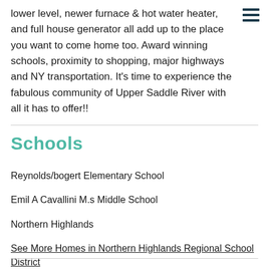lower level, newer furnace & hot water heater, and full house generator all add up to the place you want to come home too. Award winning schools, proximity to shopping, major highways and NY transportation. It's time to experience the fabulous community of Upper Saddle River with all it has to offer!!
Schools
Reynolds/bogert Elementary School
Emil A Cavallini M.s Middle School
Northern Highlands
See More Homes in Northern Highlands Regional School District